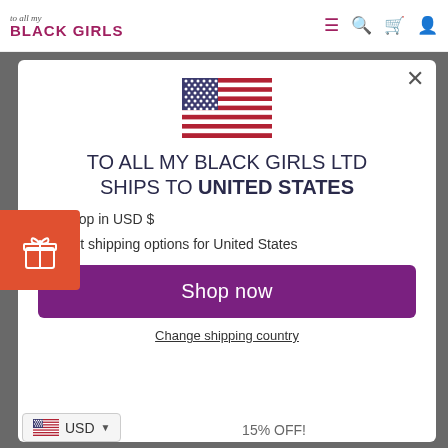[Figure (screenshot): Website header bar with 'to all my BLACK GIRLS' logo and navigation icons (hamburger menu, search, cart, account) in pink/maroon on white background]
[Figure (illustration): Orange gift/present icon button on left side of screen]
[Figure (screenshot): Modal dialog popup with US flag, title 'TO ALL MY BLACK GIRLS LTD SHIPS TO UNITED STATES', bullet points, purple Shop Now button, Change shipping country link, and USD currency selector]
TO ALL MY BLACK GIRLS LTD SHIPS TO UNITED STATES
Shop in USD $
Get shipping options for United States
Shop now
Change shipping country
USD
15% OFF!